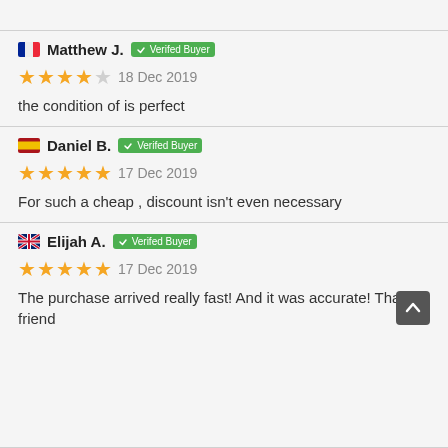Matthew J. — Verifed Buyer — 18 Dec 2019 — 4 stars — the condition of is perfect
Daniel B. — Verifed Buyer — 17 Dec 2019 — 5 stars — For such a cheap , discount isn't even necessary
Elijah A. — Verifed Buyer — 17 Dec 2019 — 5 stars — The purchase arrived really fast! And it was accurate! Thank u friend